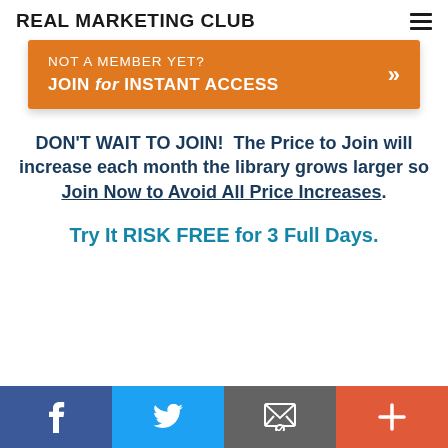REAL MARKETING CLUB
[Figure (infographic): Orange banner button: 'NOT A MEMBER YET? JOIN for INSTANT ACCESS >>']
DON'T WAIT TO JOIN!  The Price to Join will increase each month the library grows larger so Join Now to Avoid All Price Increases.
Try It RISK FREE for 3 Full Days.
Social share bar: Facebook, Twitter, Email, Plus